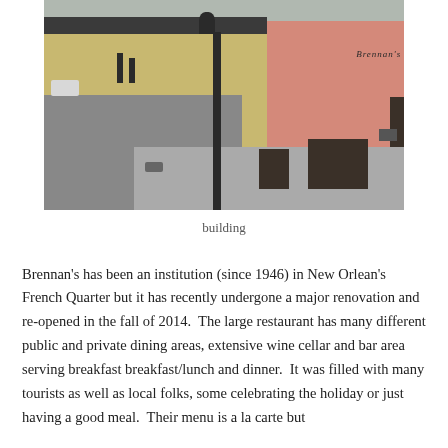[Figure (photo): Street-level photograph of Brennan's restaurant exterior in New Orleans French Quarter, showing a pink building facade with the Brennan's sign, a black lamppost, potted plants, and a wet street scene.]
building
Brennan's has been an institution (since 1946) in New Orlean's French Quarter but it has recently undergone a major renovation and re-opened in the fall of 2014.  The large restaurant has many different public and private dining areas, extensive wine cellar and bar area serving breakfast breakfast/lunch and dinner.  It was filled with many tourists as well as local folks, some celebrating the holiday or just having a good meal.  Their menu is a la carte but